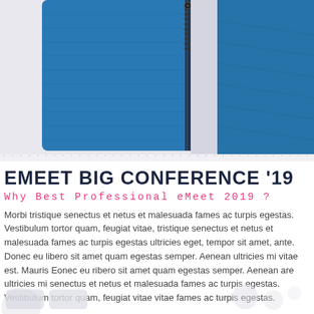[Figure (photo): Blue knit/fleece jacket close-up showing zipper detail, split into two panels against a light background]
EMEET BIG CONFERENCE '19
Why Best Professional eMeet 2019 ?
Morbi tristique senectus et netus et malesuada fames ac turpis egestas. Vestibulum tortor quam, feugiat vitae, tristique senectus et netus et malesuada fames ac turpis egestas ultricies eget, tempor sit amet, ante. Donec eu libero sit amet quam egestas semper. Aenean ultricies mi vitae est. Mauris Eonec eu ribero sit amet quam egestas semper. Aenean are ultricies mi senectus et netus et malesuada fames ac turpis egestas. Vestibulum tortor quam, feugiat vitae vitae fames ac turpis egestas.